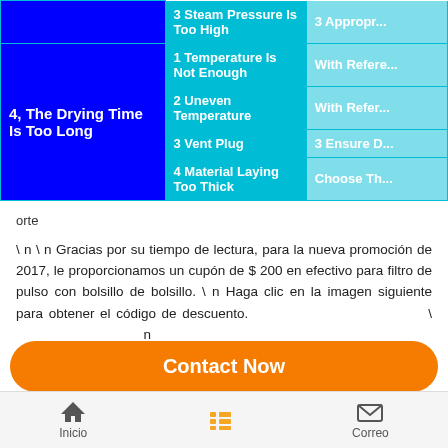| Problem | Cause | Solution |
| --- | --- | --- |
|  | 3 Steam Pressure Is Too High | 3 Approp... |
| 4, The Drying Time Is Too Long | 1 Temperature Is Not Enough | With Refere... |
|  | 2 Uneven Temperature | With Refer... |
|  | 3 Vent Plug | 3 Ensure D... |
|  | 4 Material Laying Too Thick | Choose Th... |
orte
\ n \ n Gracias por su tiempo de lectura, para la nueva promoción de 2017, le proporcionamos un cupón de $ 200 en efectivo para filtro de pulso con bolsillo de bolsillo. \ n Haga clic en la imagen siguiente para obtener el código de descuento.                                    \                                   n
\ n Filtro de pulso serie 2017 MC con bolsillo de salto, filtro de aire SS, bolsas de filtro grande para colector de polvo \ n
Otros productos.